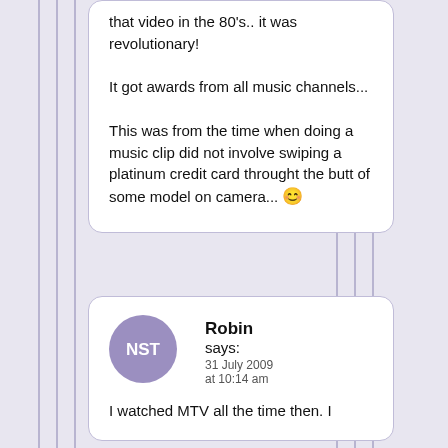that video in the 80's.. it was revolutionary!

It got awards from all music channels...

This was from the time when doing a music clip did not involve swiping a platinum credit card throught the butt of some model on camera... 😊
Robin says: 31 July 2009 at 10:14 am
I watched MTV all the time then. I